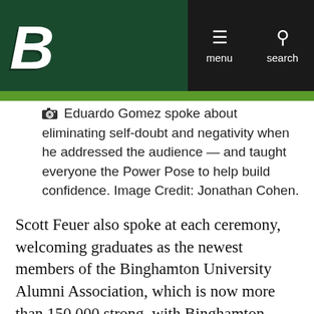Binghamton University header with logo and navigation (menu, search)
Eduardo Gomez spoke about eliminating self-doubt and negativity when he addressed the audience — and taught everyone the Power Pose to help build confidence. Image Credit: Jonathan Cohen.
Scott Feuer also spoke at each ceremony, welcoming graduates as the newest members of the Binghamton University Alumni Association, which is now more than 150,000 strong, with Binghamton graduates in more than 100 countries around the world. "Wherever you go, you're an ambassador for Binghamton University. Proudly wear your Binghamton shirts and hats, and display your Binghamton gear at home and at work. Your Binghamton experience is a great conversation starter when you meet new people!"